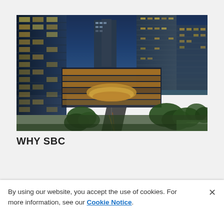[Figure (photo): Aerial dusk photograph of a modern urban downtown area with glass skyscrapers, illuminated office buildings with yellow lighting, a circular architectural feature, a road, and green trees in the foreground.]
WHY SBC
By using our website, you accept the use of cookies. For more information, see our Cookie Notice.